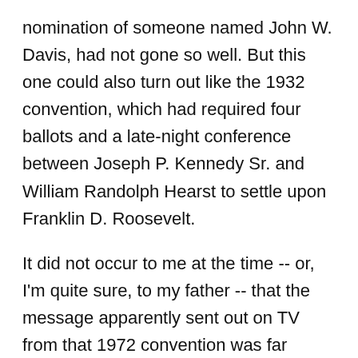nomination of someone named John W. Davis, had not gone so well. But this one could also turn out like the 1932 convention, which had required four ballots and a late-night conference between Joseph P. Kennedy Sr. and William Randolph Hearst to settle upon Franklin D. Roosevelt.
It did not occur to me at the time -- or, I'm quite sure, to my father -- that the message apparently sent out on TV from that 1972 convention was far different from the one we perceived. What we thought was dynamic and invigorating would be conveyed to posterity as an aberrant episode of French Revolution-style chaos in which the Democratic Party was abducted by feminists, black radicals and America-haters. As my colleague